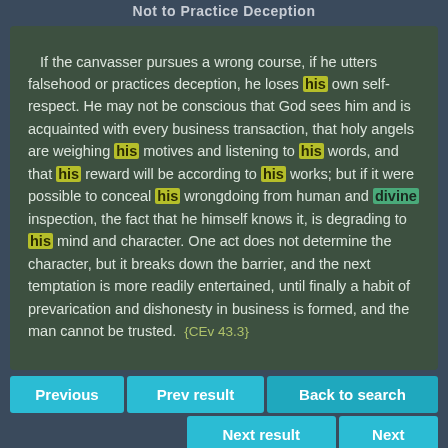Not to Practice Deception
If the canvasser pursues a wrong course, if he utters falsehood or practices deception, he loses his own self-respect. He may not be conscious that God sees him and is acquainted with every business transaction, that holy angels are weighing his motives and listening to his words, and that his reward will be according to his works; but if it were possible to conceal his wrongdoing from human and divine inspection, the fact that he himself knows it, is degrading to his mind and character. One act does not determine the character, but it breaks down the barrier, and the next temptation is more readily entertained, until finally a habit of prevarication and dishonesty in business is formed, and the man cannot be trusted. {CEv 43.3}
Previous
Prev result
Back to search
Next result
Next